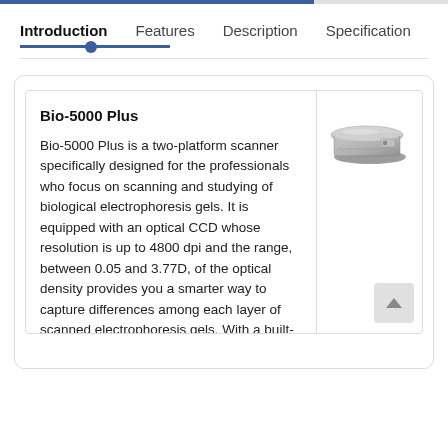Introduction   Features   Description   Specification
Bio-5000 Plus
Bio-5000 Plus is a two-platform scanner specifically designed for the professionals who focus on scanning and studying of biological electrophoresis gels. It is equipped with an optical CCD whose resolution is up to 4800 dpi and the range, between 0.05 and 3.77D, of the optical density provides you a smarter way to capture differences among each layer of scanned electrophoresis gels. With a built-in Auto-Focus function, Bio-5000 Plus is capable of shifting the focal length to the
[Figure (photo): Photo of a Bio-5000 Plus flatbed scanner device, silver/gray color, viewed from a slight angle]